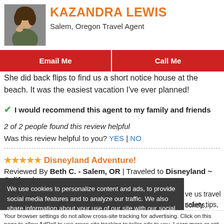[Figure (photo): Headshot photo of Kazandra Lewis, a woman with brown hair resting hand near face]
KAZANDRA LEWIS
Salem, Oregon Travel Agent
Email Me
Call Me
She did back flips to find us a short notice house at the beach. It was the easiest vacation I've ever planned!
✔ I would recommend this agent to my family and friends
2 of 2 people found this review helpful
Was this review helpful to you? YES | NO
★★★★★ Disneyland Adventure!
Reviewed By Beth C. - Salem, OR | Traveled to Disneyland ~ California
We use cookies to personalize content and ads, to provide social media features and to analyze our traffic. We also share information about your use of our site with our social media, advertising and analytic partners. You can...
Accept and Close ✕
Your browser settings do not allow cross-site tracking for advertising. Click on this page to allow AdRoll to use cross-site tracking to tailor ads to you. Learn more or opt out of this AdRoll tracking by clicking here. This message only appears once.
✔ I would recommend this agent to my family and friends